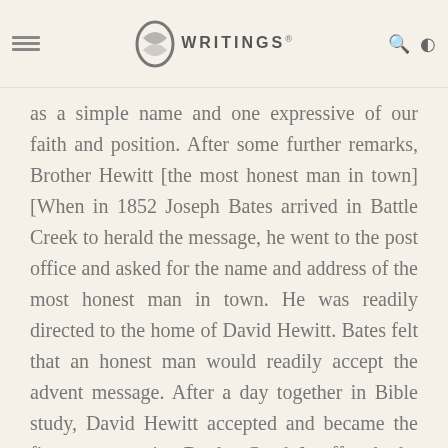EGW WRITINGS
as a simple name and one expressive of our faith and position. After some further remarks, Brother Hewitt [the most honest man in town] [When in 1852 Joseph Bates arrived in Battle Creek to herald the message, he went to the post office and asked for the name and address of the most honest man in town. He was readily directed to the home of David Hewitt. Bates felt that an honest man would readily accept the advent message. After a day together in Bible study, David Hewitt accepted and became the first convert in Battle Creek.] offered the following resolution:
Resolved, That we take the name of Seventh-day Adventists.—Ibid.